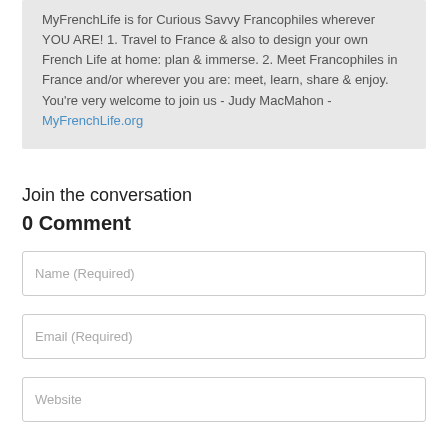MyFrenchLife is for Curious Savvy Francophiles wherever YOU ARE! 1. Travel to France & also to design your own French Life at home: plan & immerse. 2. Meet Francophiles in France and/or wherever you are: meet, learn, share & enjoy. You're very welcome to join us - Judy MacMahon - MyFrenchLife.org
Join the conversation
0 Comment
Name (Required)
Email (Required)
Website